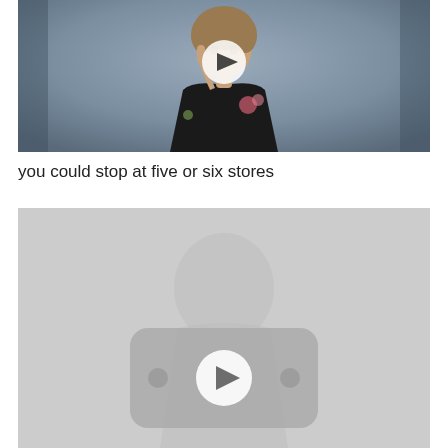[Figure (screenshot): Video thumbnail showing a middle-aged woman with curly hair wearing a black floral top, holding up one finger. A white circular play button is overlaid in the center.]
you could stop at five or six stores
[Figure (screenshot): Gray video placeholder thumbnail with a YouTube-style rounded rectangle icon and a white circular play button in the center.]